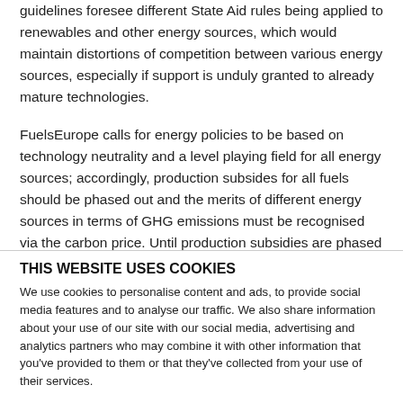guidelines foresee different State Aid rules being applied to renewables and other energy sources, which would maintain distortions of competition between various energy sources, especially if support is unduly granted to already mature technologies.
FuelsEurope calls for energy policies to be based on technology neutrality and a level playing field for all energy sources; accordingly, production subsides for all fuels should be phased out and the merits of different energy sources in terms of GHG emissions must be recognised via the carbon price. Until production subsidies are phased out, their negative impact should be alleviated, especially for energy intensive industries, in a way that does not
THIS WEBSITE USES COOKIES
We use cookies to personalise content and ads, to provide social media features and to analyse our traffic. We also share information about your use of our site with our social media, advertising and analytics partners who may combine it with other information that you've provided to them or that they've collected from your use of their services.